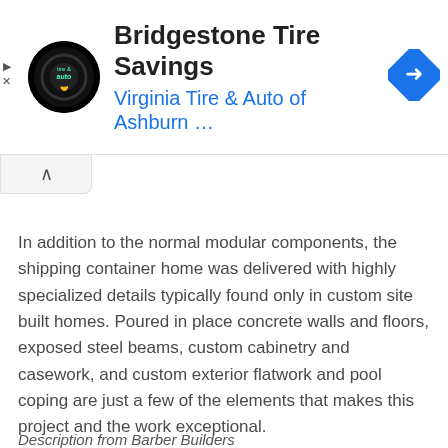[Figure (other): Advertisement banner for Bridgestone Tire Savings from Virginia Tire & Auto of Ashburn, featuring a circular tire & auto logo on the left and a blue diamond navigation arrow on the right. Controls for play and close are on the far left.]
In addition to the normal modular components, the shipping container home was delivered with highly specialized details typically found only in custom site built homes. Poured in place concrete walls and floors, exposed steel beams, custom cabinetry and casework, and custom exterior flatwork and pool coping are just a few of the elements that makes this project and the work exceptional.
Description from Barber Builders